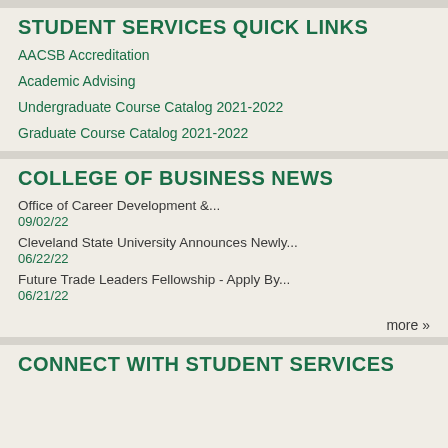STUDENT SERVICES QUICK LINKS
AACSB Accreditation
Academic Advising
Undergraduate Course Catalog 2021-2022
Graduate Course Catalog 2021-2022
COLLEGE OF BUSINESS NEWS
Office of Career Development &...
09/02/22
Cleveland State University Announces Newly...
06/22/22
Future Trade Leaders Fellowship - Apply By...
06/21/22
more »
CONNECT WITH STUDENT SERVICES